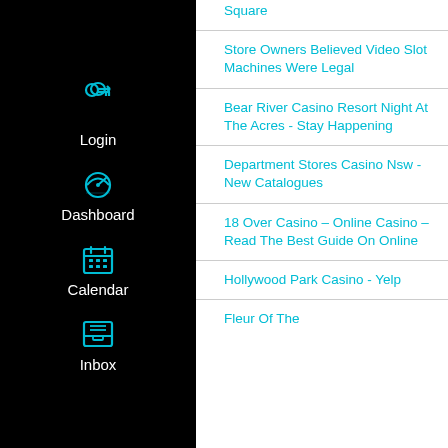Login
Dashboard
Calendar
Inbox
Square
Store Owners Believed Video Slot Machines Were Legal
Bear River Casino Resort Night At The Acres - Stay Happening
Department Stores Casino Nsw - New Catalogues
18 Over Casino – Online Casino – Read The Best Guide On Online
Hollywood Park Casino - Yelp
Fleur Of The